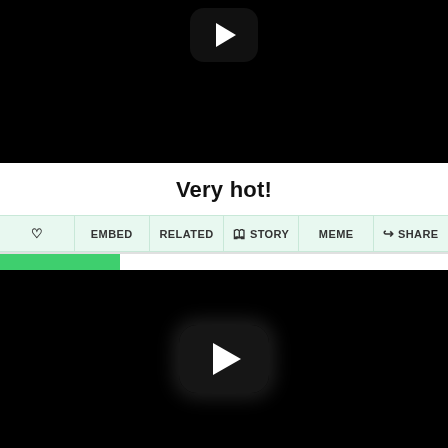[Figure (screenshot): Black video thumbnail area at top with a dark play button centered near the top]
Very hot!
[Figure (screenshot): Navigation bar with icons and labels: heart icon, EMBED, RELATED, book/STORY, MEME, share/SHARE on light green background]
#14  Mickey's Twice Upon a Christmas
Released , Rated
Score 27.832
[Figure (screenshot): Black video thumbnail area at bottom with a large dark play button centered]